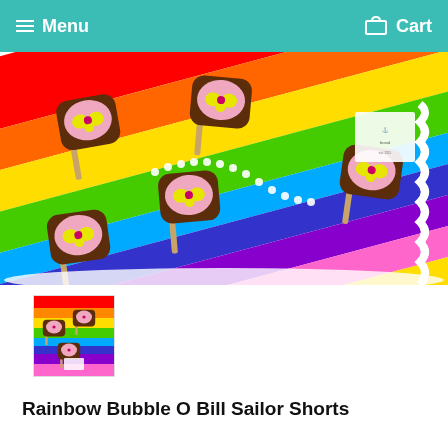Menu  Cart
[Figure (photo): Close-up photo of colorful fabric with rainbow stripes and chocolate ice cream bar (Bubble O Bill) pattern. The ice cream bars feature pink faces with yellow bowtie shapes and white pearl/bead details, laid on a white fluffy surface. A brand tag is visible in the top right corner.]
[Figure (photo): Thumbnail image of Rainbow Bubble O Bill Sailor Shorts product showing the colorful rainbow and ice cream bar patterned shorts.]
Rainbow Bubble O Bill Sailor Shorts